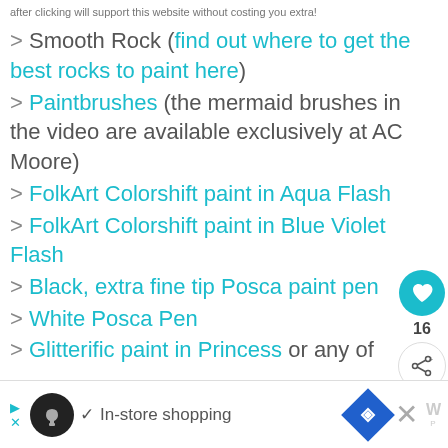after clicking will support this website without costing you extra!
> Smooth Rock (find out where to get the best rocks to paint here)
> Paintbrushes (the mermaid brushes in the video are available exclusively at AC Moore)
> FolkArt Colorshift paint in Aqua Flash
> FolkArt Colorshift paint in Blue Violet Flash
> Black, extra fine tip Posca paint pen
> White Posca Pen
> Glitterific paint in Princess or any of
[Figure (screenshot): Bottom ad bar with logo, in-store shopping text, navigation icon, close button, and share icon]
[Figure (infographic): Sidebar with teal heart button showing 16 likes and a share button]